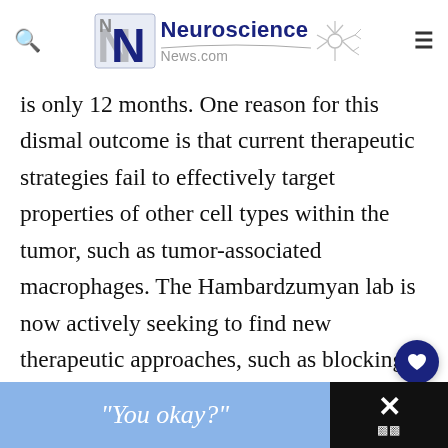Neuroscience News.com
is only 12 months. One reason for this dismal outcome is that current therapeutic strategies fail to effectively target properties of other cell types within the tumor, such as tumor-associated macrophages. The Hambardzumyan lab is now actively seeking to find new therapeutic approaches, such as blocking macrophage infiltration in combination with immune checkpoint inhibitors to treat these deadly brain tumors
[Figure (screenshot): Bottom advertisement bar showing 'You okay?' text with close button]